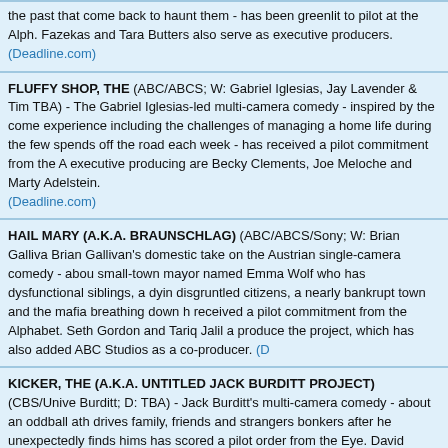the past that come back to haunt them - has been greenlit to pilot at the Alph. Fazekas and Tara Butters also serve as executive producers. (Deadline.com)
FLUFFY SHOP, THE (ABC/ABCS; W: Gabriel Iglesias, Jay Lavender & Tim TBA) - The Gabriel Iglesias-led multi-camera comedy - inspired by the come experience including the challenges of managing a home life during the few spends off the road each week - has received a pilot commitment from the A executive producing are Becky Clements, Joe Meloche and Marty Adelstein. (Deadline.com)
HAIL MARY (A.K.A. BRAUNSCHLAG) (ABC/ABCS/Sony; W: Brian Galliva Brian Gallivan's domestic take on the Austrian single-camera comedy - abou small-town mayor named Emma Wolf who has dysfunctional siblings, a dyin disgruntled citizens, a nearly bankrupt town and the mafia breathing down h received a pilot commitment from the Alphabet. Seth Gordon and Tariq Jalil produce the project, which has also added ABC Studios as a co-producer. (D
KICKER, THE (A.K.A. UNTITLED JACK BURDITT PROJECT) (CBS/Unive Burditt; D: TBA) - Jack Burditt's multi-camera comedy - about an oddball ath drives family, friends and strangers bonkers after he unexpectedly finds hims has scored a pilot order from the Eye. David Miner, Robert Carlock and Tina serve as executive producers. (Deadline.com)
NOTORIOUS (ABC/ABCS/Sony; W: Allie Hagan & Josh Berman; D: TBA) - which follows the professional and personal relationship between a charisma and a powerhouse television producer as they attempt to control the media, system, and ultimately each other - is among the latest to score a pilot comn Alphabet. Also executive producing are Jeff Kwatinetz, Josh Barry, Kenny M Geragos and Wendy Walker while ABC Studios has been added as a co-pro (Deadline.com)